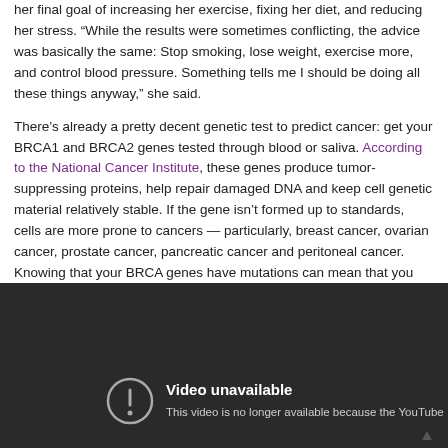her final goal of increasing her exercise, fixing her diet, and reducing her stress. “While the results were sometimes conflicting, the advice was basically the same: Stop smoking, lose weight, exercise more, and control blood pressure. Something tells me I should be doing all these things anyway,” she said.
There’s already a pretty decent genetic test to predict cancer: get your BRCA1 and BRCA2 genes tested through blood or saliva. According to the National Cancer Institute, these genes produce tumor-suppressing proteins, help repair damaged DNA and keep cell genetic material relatively stable. If the gene isn’t formed up to standards, cells are more prone to cancers — particularly, breast cancer, ovarian cancer, prostate cancer, pancreatic cancer and peritoneal cancer. Knowing that your BRCA genes have mutations can mean that you know you have to get screened for cancer more often as you grow older — it doesn’t mean that you will get cancer.
[Figure (screenshot): Embedded video player showing 'Video unavailable' message on dark background. Text reads: 'This video is no longer available because the YouTube']